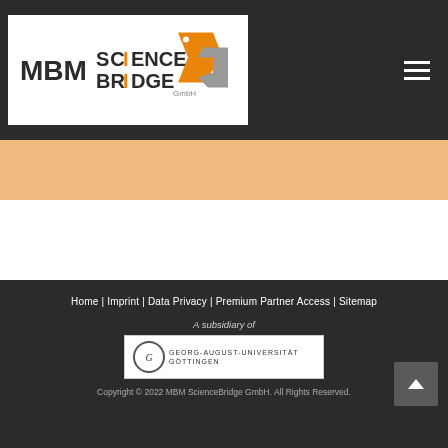[Figure (logo): MBM ScienceBridge GmbH logo with orange and grey geometric shapes]
[Figure (logo): Georg-August-Universität Göttingen logo with circular seal]
Home | Imprint | Data Privacy | Premium Partner Access | Sitemap
A subsidiary of
Copyright © 2022 MBM ScienceBridge GmbH. All Rights Reserved.